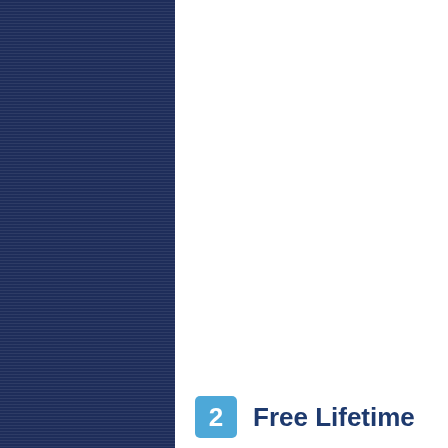[Figure (illustration): Left half dark navy blue panel with horizontal line texture pattern; right half white panel background]
2 Free Lifetime